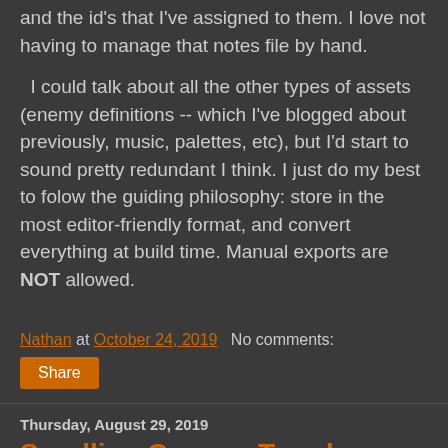and the id's that I've assigned to them. I love not having to manage that notes file by hand.
I could talk about all the other types of assets (enemy definitions -- which I've blogged about previously, music, palettes, etc), but I'd start to sound pretty redundant I think. I just do my best to folow the guiding philosophy: store in the most editor-friendly format, and convert everything at build time. Manual exports are NOT allowed.
Nathan at October 24, 2019   No comments:
Share
Thursday, August 29, 2019
Scrolling Camera Tweaks
One of the subtle things that can really impact how a scrolling platformer feels is how the camera works. Does the character stay centered, or does the camera feel a bit